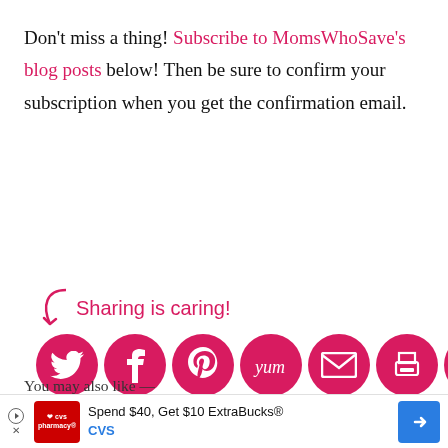Don't miss a thing! Subscribe to MomsWhoSave's blog posts below! Then be sure to confirm your subscription when you get the confirmation email.
[Figure (infographic): Sharing is caring! banner with social media share icons: Twitter, Facebook, Pinterest, Yummly, Email, Print, and a sharing/recycle icon, all in dark pink/magenta circles, with a hand-drawn pink arrow and the text 'Sharing is caring!']
You may also like —
[Figure (photo): Two partial thumbnail images side by side at the bottom of the page]
[Figure (infographic): CVS advertisement banner: Spend $40, Get $10 ExtraBucks® CVS with CVS pharmacy logo and navigation arrow]